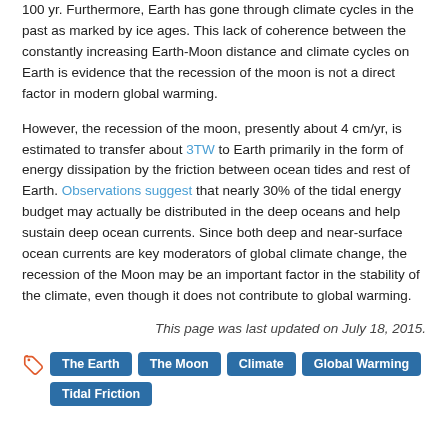100 yr. Furthermore, Earth has gone through climate cycles in the past as marked by ice ages. This lack of coherence between the constantly increasing Earth-Moon distance and climate cycles on Earth is evidence that the recession of the moon is not a direct factor in modern global warming.
However, the recession of the moon, presently about 4 cm/yr, is estimated to transfer about 3TW to Earth primarily in the form of energy dissipation by the friction between ocean tides and rest of Earth. Observations suggest that nearly 30% of the tidal energy budget may actually be distributed in the deep oceans and help sustain deep ocean currents. Since both deep and near-surface ocean currents are key moderators of global climate change, the recession of the Moon may be an important factor in the stability of the climate, even though it does not contribute to global warming.
This page was last updated on July 18, 2015.
The Earth
The Moon
Climate
Global Warming
Tidal Friction